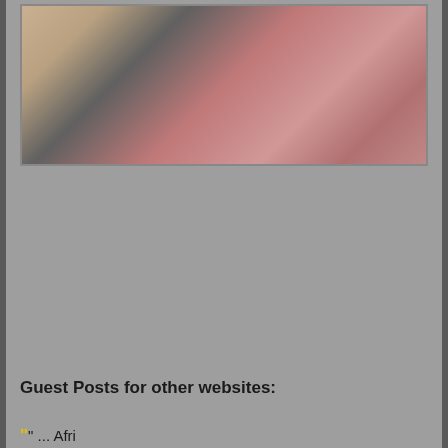[Figure (illustration): Partial illustration showing animated/3D rendered figures in red clothing against a tan/gray background]
Guest Posts for other websites:
"... Africa ..." (yellow link text partially visible at bottom)